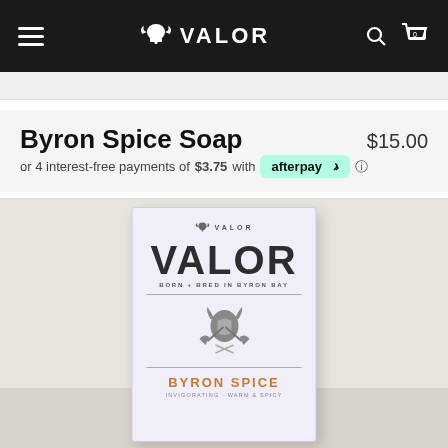VALOR
Byron Spice Soap
$15.00
or 4 interest-free payments of $3.75 with afterpay
[Figure (photo): Product photo of Byron Spice Soap box by Valor. White/purple box showing Valor brand name, 'Born + Bred in Byron Bay' tagline, Viking helmet with crossed axes graphic, 'Byron Spice' product name in orange, and subtext 'Invigorating, warm & spicy'.]